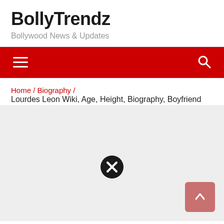BollyTrendz
Bollywood News & Updates
Navigation bar with hamburger menu and search icon
Home / Biography / Lourdes Leon Wiki, Age, Height, Biography, Boyfriend
[Figure (screenshot): Grey content area with a close (X) button icon in the center and a back-to-top arrow button in the bottom right corner]